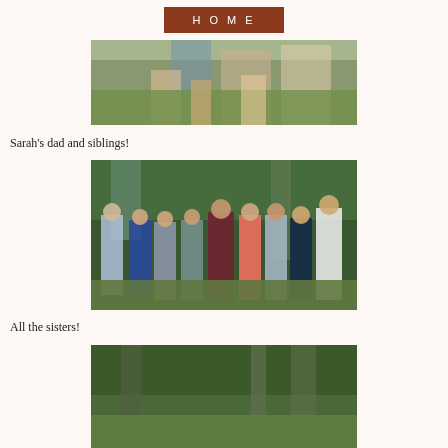HOME
[Figure (photo): Cropped photo showing lower halves of people standing on grass, partially cut off at top]
Sarah's dad and siblings!
[Figure (photo): Group photo of Sarah's dad and siblings standing outdoors in front of trees, dressed formally]
All the sisters!
[Figure (photo): Partial photo of sisters outdoors among trees, cut off at bottom]